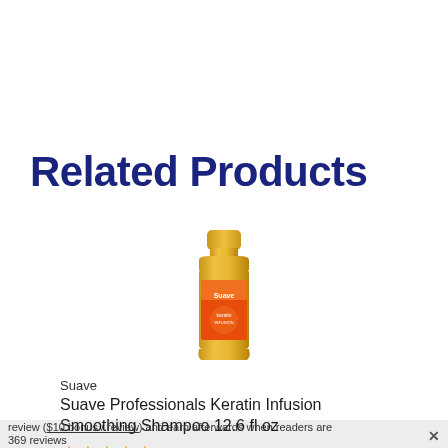Related Products
[Figure (photo): Suave Professionals Keratin Infusion Smoothing Shampoo 12.6 fl oz bottle - gold colored bottle with orange and red label]
Suave
Suave Professionals Keratin Infusion Smoothing Shampoo 12.6 fl oz
[Figure (other): 4 and a half star rating]
review ($10 bonus / review) and earn afterwards when readers are 369 reviews